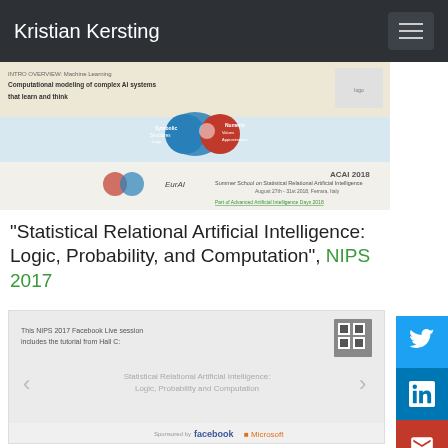Kristian Kersting
[Figure (screenshot): Screenshot of ACAI 2018 Summer School on Statistical Relational Artificial Intelligence slide/poster showing symbolic vs numeric AI comparison with two human head silhouettes]
"Statistical Relational Artificial Intelligence: Logic, Probability, and Computation", NIPS 2017
[Figure (screenshot): Screenshot of NIPS 2017 Facebook Live session video featuring the tutorial 'Statistical Relational Artificial Intelligence: Logic, Probability and Computation' from Hall C, sponsored by Facebook and Microsoft]
"Feeding the World with Big Data", Computational Sustainability Virtual Seminar Series, Cornell